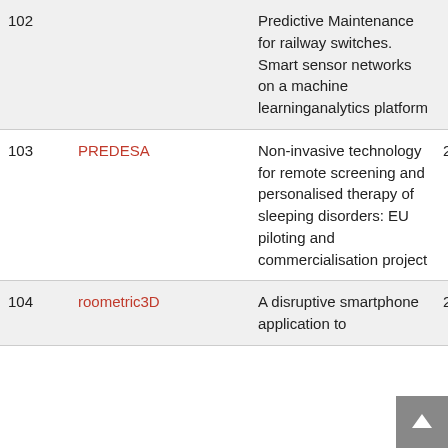| # | Project | Description |  |
| --- | --- | --- | --- |
| 102 | Andromeda | Predictive Maintenance for railway switches. Smart sensor networks on a machine learninganalytics platform | 2 |
| 103 | PREDESA | Non-invasive technology for remote screening and personalised therapy of sleeping disorders: EU piloting and commercialisation project | 2 |
| 104 | roometric3D | A disruptive smartphone application to | 2 |